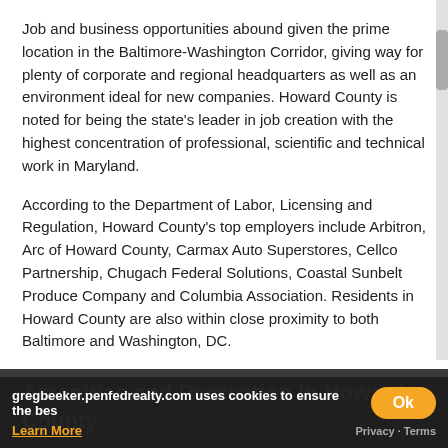Job and business opportunities abound given the prime location in the Baltimore-Washington Corridor, giving way for plenty of corporate and regional headquarters as well as an environment ideal for new companies. Howard County is noted for being the state's leader in job creation with the highest concentration of professional, scientific and technical work in Maryland.
According to the Department of Labor, Licensing and Regulation, Howard County's top employers include Arbitron, Arc of Howard County, Carmax Auto Superstores, Cellco Partnership, Chugach Federal Solutions, Coastal Sunbelt Produce Company and Columbia Association. Residents in Howard County are also within close proximity to both Baltimore and Washington, DC.
Amenities and Recreation in Howard County
Given its location, How… is steeped in rich … The histor… of Ellicott City…